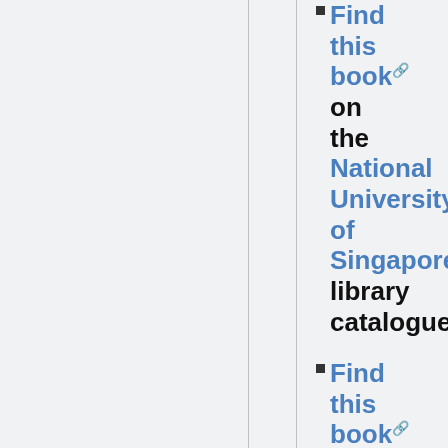Find this book on the National University of Singapore library catalogue
Find this book on the